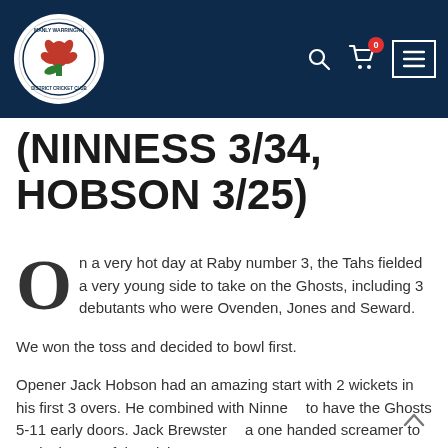Manly Warringah District Cricket Club header navigation
(NINNESS 3/34, HOBSON 3/25)
On a very hot day at Raby number 3, the Tahs fielded a very young side to take on the Ghosts, including 3 debutants who were Ovenden, Jones and Seward.
We won the toss and decided to bowl first.
Opener Jack Hobson had an amazing start with 2 wickets in his first 3 overs. He combined with Ninne to have the Ghosts 5-11 early doors. Jack Brewster a one handed screamer to assist in one of the wickets.